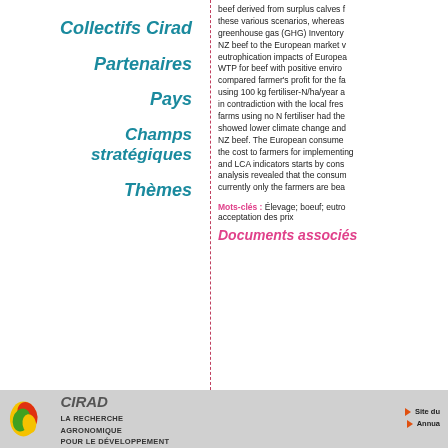Collectifs Cirad
Partenaires
Pays
Champs stratégiques
Thèmes
beef derived from surplus calves f... these various scenarios, whereas greenhouse gas (GHG) Inventory NZ beef to the European market v... eutrophication impacts of Europea... WTP for beef with positive environ... compared farmer's profit for the fa... using 100 kg fertiliser-N/ha/year a... in contradiction with the local fres... farms using no N fertiliser had the... showed lower climate change and NZ beef. The European consume... the cost to farmers for implementing and LCA indicators starts by cons... analysis revealed that the consum... currently only the farmers are bea...
Mots-clés : Élevage; boeuf; eutro... acceptation des prix
Documents associés
cirad LA RECHERCHE AGRONOMIQUE POUR LE DÉVELOPPEMENT ▶ Site du... ▶ Annua...